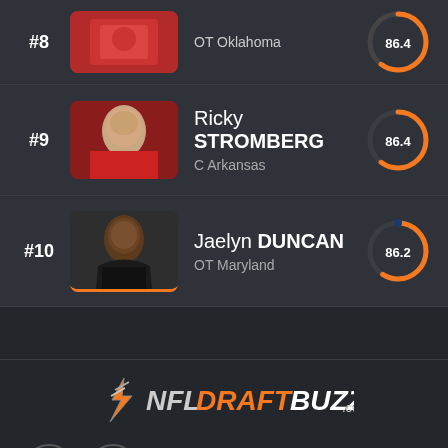#8 OT Oklahoma 86.4
#9 Ricky STROMBERG C Arkansas 86.4
#10 Jaelyn DUNCAN OT Maryland 86.2
[Figure (logo): NFLDraftBuzz.com logo with orange lightning bolt icon]
CONTACT US: CONTACT@NFLDRAFTBUZZ.COM
HOME | POSITION RANKING | FEATURES | PRIVACY POLICY